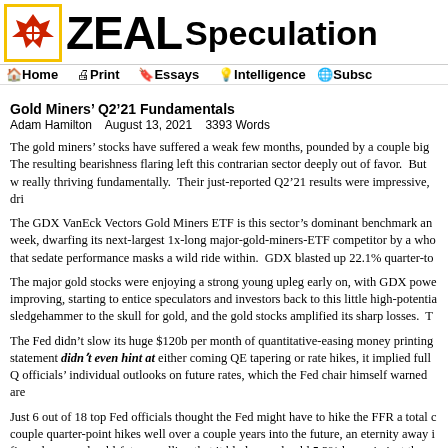ZEAL Speculation
Home  Print  Essays  Intelligence  Subsc
Gold Miners' Q2'21 Fundamentals
Adam Hamilton    August 13, 2021    3393 Words
The gold miners' stocks have suffered a weak few months, pounded by a couple big The resulting bearishness flaring left this contrarian sector deeply out of favor.  But w really thriving fundamentally.  Their just-reported Q2'21 results were impressive, dri
The GDX VanEck Vectors Gold Miners ETF is this sector's dominant benchmark an week, dwarfing its next-largest 1x-long major-gold-miners-ETF competitor by a who that sedate performance masks a wild ride within.  GDX blasted up 22.1% quarter-to
The major gold stocks were enjoying a strong young upleg early on, with GDX powe improving, starting to entice speculators and investors back to this little high-potentia sledgehammer to the skull for gold, and the gold stocks amplified its sharp losses.  T
The Fed didn't slow its huge $120b per month of quantitative-easing money printing statement didn't even hint at either coming QE tapering or rate hikes, it implied full Q officials' individual outlooks on future rates, which the Fed chair himself warned are
Just 6 out of 18 top Fed officials thought the Fed might have to hike the FFR a total couple quarter-point hikes well over a couple years into the future, an eternity away i fierce leveraged gold-futures selling that it bludgeoned gold 5.2% lower in just three